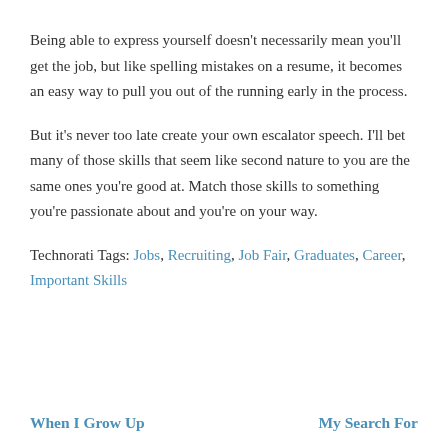Being able to express yourself doesn't necessarily mean you'll get the job, but like spelling mistakes on a resume, it becomes an easy way to pull you out of the running early in the process.
But it's never too late create your own escalator speech. I'll bet many of those skills that seem like second nature to you are the same ones you're good at. Match those skills to something you're passionate about and you're on your way.
Technorati Tags: Jobs, Recruiting, Job Fair, Graduates, Career, Important Skills
When I Grow Up
My Search For